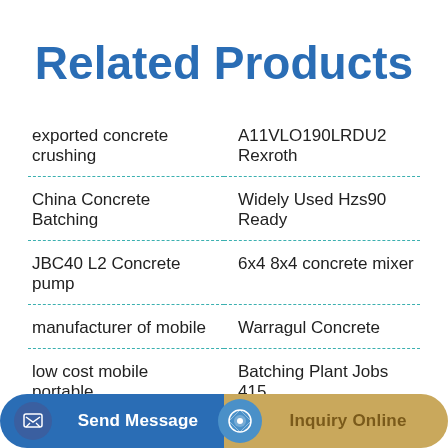Related Products
exported concrete crushing
A11VLO190LRDU2 Rexroth
China Concrete Batching
Widely Used Hzs90 Ready
JBC40 L2 Concrete pump
6x4 8x4 concrete mixer
manufacturer of mobile
Warragul Concrete
low cost mobile portable
Batching Plant Jobs 415
Send Message
Inquiry Online